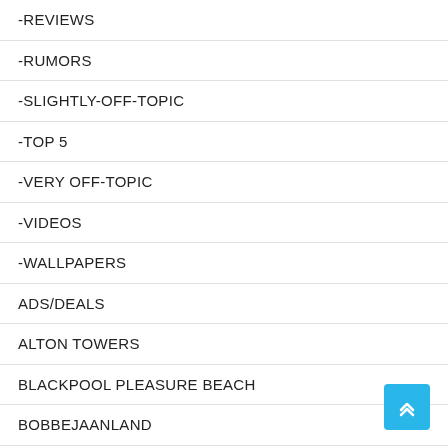-REVIEWS
-RUMORS
-SLIGHTLY-OFF-TOPIC
-TOP 5
-VERY OFF-TOPIC
-VIDEOS
-WALLPAPERS
ADS/DEALS
ALTON TOWERS
BLACKPOOL PLEASURE BEACH
BOBBEJAANLAND
BUSCH GARDENS TAMPA
BUSCH GARDENS WILLIAMSBURG